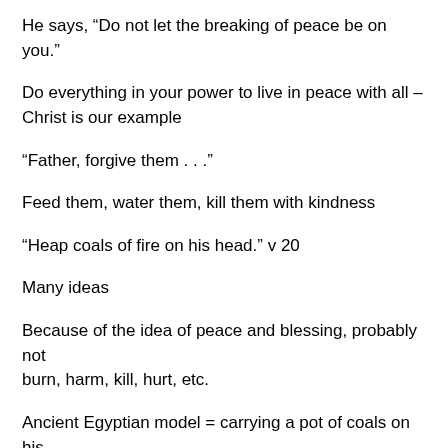He says, “Do not let the breaking of peace be on you.”
Do everything in your power to live in peace with all – Christ is our example
“Father, forgive them . . .”
Feed them, water them, kill them with kindness
“Heap coals of fire on his head.” v 20
Many ideas
Because of the idea of peace and blessing, probably not burn, harm, kill, hurt, etc.
Ancient Egyptian model = carrying a pot of coals on his head to show repentance
Possible since this scripture quotes Proverbs which was